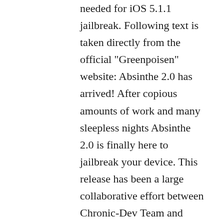needed for iOS 5.1.1 jailbreak. Following text is taken directly from the official "Greenpoisen" website: Absinthe 2.0 has arrived! After copious amounts of work and many sleepless nights Absinthe 2.0 is finally here to jailbreak your device. This release has been a large collaborative effort between Chronic-Dev Team and iPhone Dev Teams (Jailbreak Dream Team) This jailbreak supports firmware 5.1.1 ONLY and is again one of the most easiest jailbreaks to use (so easy your grandma could do it ;D) Absinthe 2.0 supports the following devices on 5.1.1: iPad 1, iPad 2, iPad 3 (iPad2,4 is now supported as of Absinthe 2.0.4) iPhone 3GS, iPhone 4, iPhone 4S iPod touch 3rd generation, iPod touch 4th generation How To Use Absinthe 2.0 (if you're unjailbroken): 1. Make a backup of your device